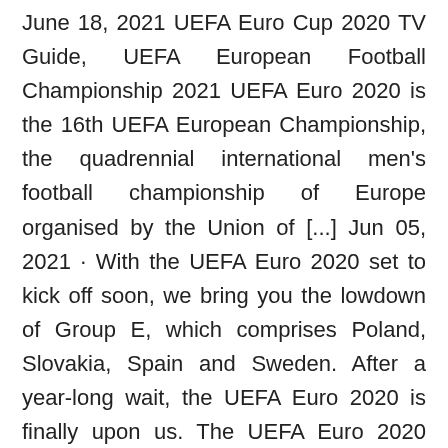June 18, 2021 UEFA Euro Cup 2020 TV Guide, UEFA European Football Championship 2021 UEFA Euro 2020 is the 16th UEFA European Championship, the quadrennial international men's football championship of Europe organised by the Union of [...] Jun 05, 2021 · With the UEFA Euro 2020 set to kick off soon, we bring you the lowdown of Group E, which comprises Poland, Slovakia, Spain and Sweden. After a year-long wait, the UEFA Euro 2020 is finally upon us. The UEFA Euro 2020 qualifying tournament was a football competition that was played from March 2019 to November 2020 to determine the 24 UEFA member men's national teams that advanced to the UEFA Euro 2020 final tournament, to be staged across Europe in June and July 2021. · UEFA Euro 2020 Live Updates and Football Score: Scotland 0-0 Czech Republic and Poland-Slovakia and